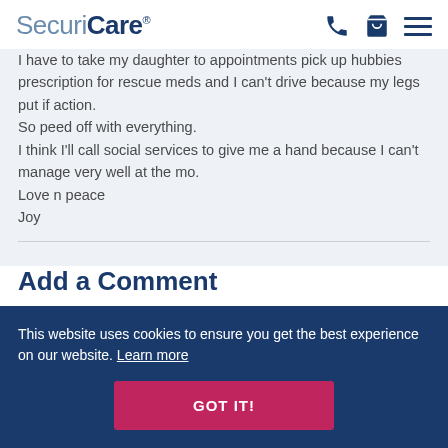SecuriCare
I have to take my daughter to appointments pick up hubbies prescription for rescue meds and I can't drive because my legs put if action.
So peed off with everything.
I think I'll call social services to give me a hand because I can't manage very well at the mo.
Love n peace
Joy
Add a Comment
This website uses cookies to ensure you get the best experience on our website. Learn more